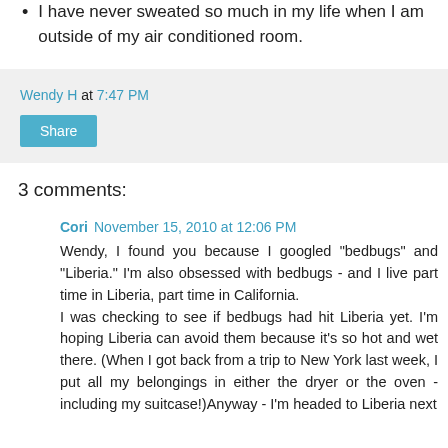I have never sweated so much in my life when I am outside of my air conditioned room.
Wendy H at 7:47 PM
Share
3 comments:
Cori November 15, 2010 at 12:06 PM
Wendy, I found you because I googled "bedbugs" and "Liberia." I'm also obsessed with bedbugs - and I live part time in Liberia, part time in California.
I was checking to see if bedbugs had hit Liberia yet. I'm hoping Liberia can avoid them because it's so hot and wet there. (When I got back from a trip to New York last week, I put all my belongings in either the dryer or the oven - including my suitcase!)Anyway - I'm headed to Liberia next